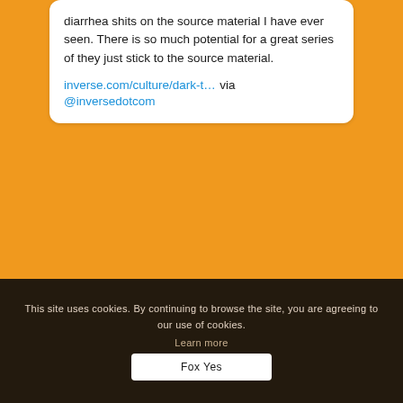diarrhea shits on the source material I have ever seen. There is so much potential for a great series of they just stick to the source material.
inverse.com/culture/dark-t... via @inversedotcom
ADVERTISE WITH US
Advertise here
[Figure (logo): Humble Bundle badge with pixelated heart logo and checkmark]
This site uses cookies. By continuing to browse the site, you are agreeing to our use of cookies.
Learn more
Fox Yes